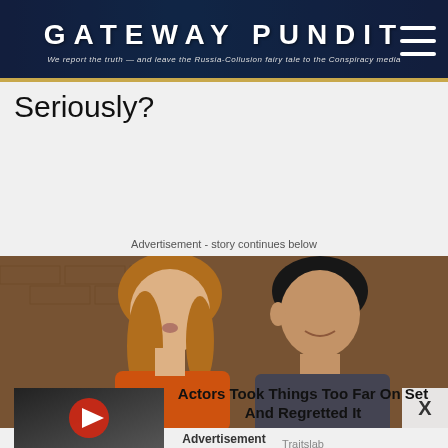GATEWAY PUNDIT — We report the truth — and leave the Russia-Collusion fairy tale to the Conspiracy media
Seriously?
Advertisement - story continues below
[Figure (photo): Two actors (a woman in orange top and a man in gray shirt) sitting together on a TV show set with brick wall background]
Advertisement
[Figure (photo): Sponsored video thumbnail with play button showing movie/TV scene]
Actors Took Things Too Far On Set And Regretted It
Traitslab